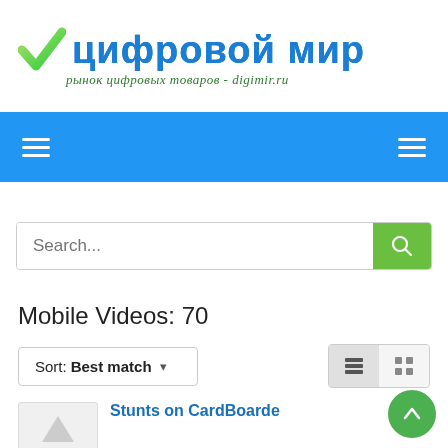[Figure (logo): Цифровой мир logo with green checkmark and Russian text 'цифровой мир' and subtitle 'рынок цифровых товаров - digimir.ru']
[Figure (screenshot): Blue navigation bar with two hamburger menu icons (left and right)]
[Figure (screenshot): Search bar with placeholder 'Search...' and green search button]
Mobile Videos: 70
Sort: Best match ▾
Stunts on CardBoarde